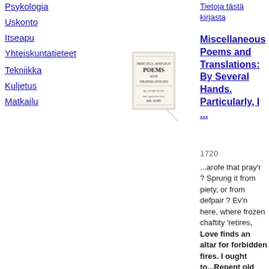Psykologia
Uskonto
Itseapu
Yhteiskuntatieteet
Tekniikka
Kuljetus
Matkailu
[Figure (photo): Book cover thumbnail of Miscellaneous Poems and Translations]
Tietoja tästä kirjasta
Miscellaneous Poems and Translations: By Several Hands. Particularly, I ...
1720
...arofe that pray'r ? Sprung it from piety, or from defpair ? Ev'n here, where frozen chaftity 'retires, Love finds an altar for forbidden fires. I ought to...Repent old pleafures, and folicit new : Now turn'd to heav'n, I weep my paft offence,